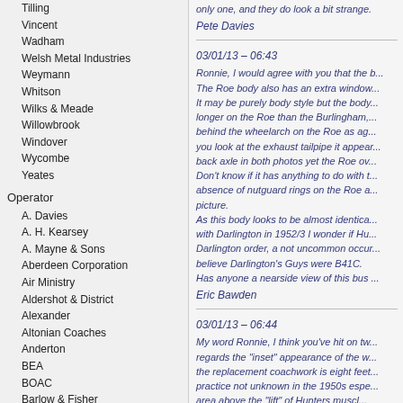Tilling
Vincent
Wadham
Welsh Metal Industries
Weymann
Whitson
Wilks & Meade
Willowbrook
Windover
Wycombe
Yeates
Operator
A. Davies
A. H. Kearsey
A. Mayne & Sons
Aberdeen Corporation
Air Ministry
Aldershot & District
Alexander
Altonian Coaches
Anderton
BEA
BOAC
Barlow & Fisher
Barnsley & District
Barrow Corporation
Barton
Bedwas & Machen
Beehive Services
only one, and they do look a bit strange.
Pete Davies
03/01/13 – 06:43
Ronnie, I would agree with you that the b... The Roe body also has an extra window... It may be purely body style but the body... longer on the Roe than the Burlingham,... behind the wheelarch on the Roe as ag... you look at the exhaust tailpipe it appea... back axle in both photos yet the Roe ov... Don't know if it has anything to do with t... absence of nutguard rings on the Roe a... picture. As this body looks to be almost identica... with Darlington in 1952/3 I wonder if Hu... Darlington order, a not uncommon occur... believe Darlington's Guys were B41C. Has anyone a nearside view of this bus ...
Eric Bawden
03/01/13 – 06:44
My word Ronnie, I think you've hit on tw... regards the "inset" appearance of the w... the replacement coachwork is eight feet... practice not unknown in the 1950s espe... area above the "lift" of Hunters muscl...